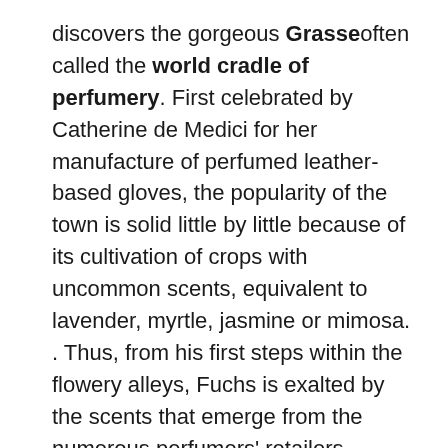discovers the gorgeous Grasse often called the world cradle of perfumery. First celebrated by Catherine de Medici for her manufacture of perfumed leather-based gloves, the popularity of the town is solid little by little because of its cultivation of crops with uncommon scents, equivalent to lavender, myrtle, jasmine or mimosa. . Thus, from his first steps within the flowery alleys, Fuchs is exalted by the scents that emerge from the numerous perfumers' retailers. Conquered, he additionally decides to offer himself up physique and soul to this nice enterprise. The yr 1926 thus marks the beginnings of the Fragonard perfumery named in homage to the well-known painter from Grasse, whose father was a glove-maker and perfumer.